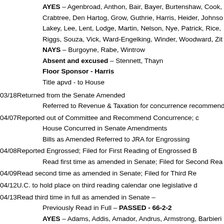AYES – Agenbroad, Anthon, Bair, Bayer, Burtenshaw, Cook, Crabtree, Den Hartog, Grow, Guthrie, Harris, Heider, Johnson, Lakey, Lee, Lent, Lodge, Martin, Nelson, Nye, Patrick, Rice, Riggs, Souza, Vick, Ward-Engelking, Winder, Woodward, Zito
NAYS – Burgoyne, Rabe, Wintrow
Absent and excused – Stennett, Thayn
Floor Sponsor - Harris
Title apvd - to House
03/18 Returned from the Senate Amended
Referred to Revenue & Taxation for concurrence recommendation
04/07 Reported out of Committee and Recommend Concurrence;
House Concurred in Senate Amendments
Bills as Amended Referred to JRA for Engrossing
04/08 Reported Engrossed; Filed for First Reading of Engrossed Bill
Read first time as amended in Senate; Filed for Second Reading
04/09 Read second time as amended in Senate; Filed for Third Reading
04/12 U.C. to hold place on third reading calendar one legislative day
04/13 Read third time in full as amended in Senate –
Previously Read in Full – PASSED - 66-2-2
AYES – Adams, Addis, Amador, Andrus, Armstrong, Barbieri, Blanksma, Boyle, Bundy, Cannon, Chaney, Chew, Christensen